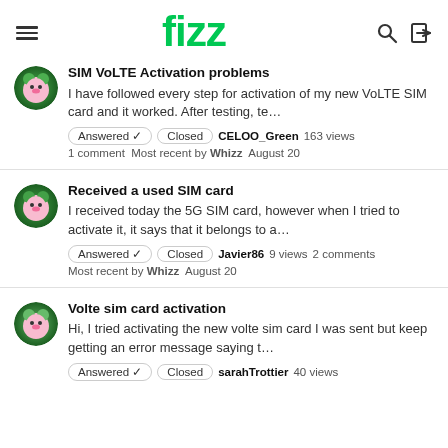fizz
SIM VoLTE Activation problems
I have followed every step for activation of my new VoLTE SIM card and it worked. After testing, te...
Answered ✓  Closed  CELOO_Green  163 views
1 comment  Most recent by Whizz  August 20
Received a used SIM card
I received today the 5G SIM card, however when I tried to activate it, it says that it belongs to a...
Answered ✓  Closed  Javier86  9 views  2 comments
Most recent by Whizz  August 20
Volte sim card activation
Hi, I tried activating the new volte sim card I was sent but keep getting an error message saying t...
Answered ✓  Closed  sarahTrottier  40 views